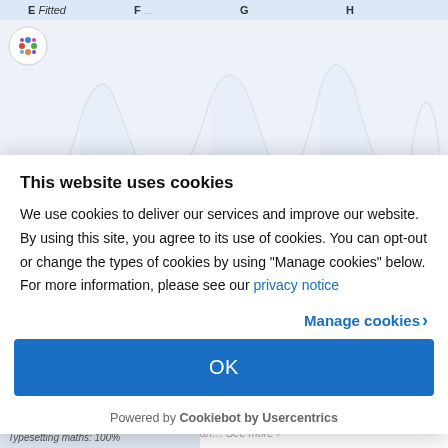E Fitted  F  G  H
[Figure (other): Scientific figure showing column panels E, F, G, H with distribution/abundance plots and a small logo (colorful dots) in the top left]
This website uses cookies
We use cookies to deliver our services and improve our website. By using this site, you agree to its use of cookies. You can opt-out or change the types of cookies by using "Manage cookies" below. For more information, please see our privacy notice
Manage cookies ›
OK
Powered by Cookiebot by Usercentrics
Typesetting maths: 100%